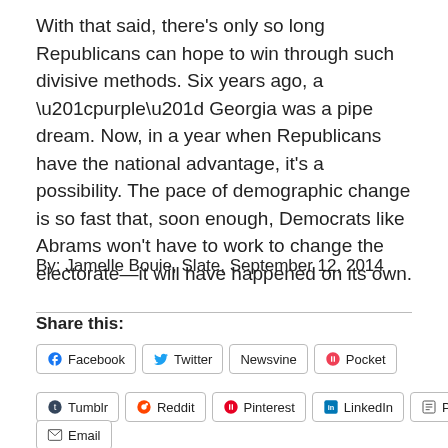With that said, there's only so long Republicans can hope to win through such divisive methods. Six years ago, a “purple” Georgia was a pipe dream. Now, in a year when Republicans have the national advantage, it’s a possibility. The pace of demographic change is so fast that, soon enough, Democrats like Abrams won’t have to work to change the electorate—it will have happened on its own.
By: Jamelle Bouie, Slate, September 12, 2014
Share this:
Facebook  Twitter  Newsvine  Pocket  Tumblr  Reddit  Pinterest  LinkedIn  Print  Email